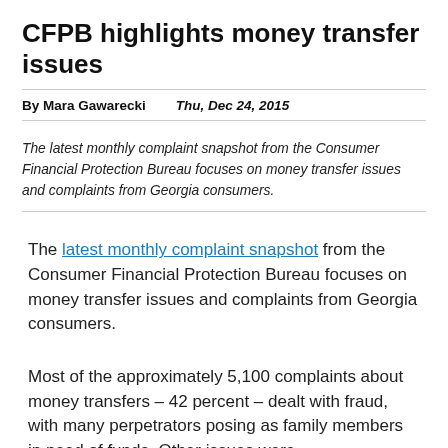CFPB highlights money transfer issues
By Mara Gawarecki   Thu, Dec 24, 2015
The latest monthly complaint snapshot from the Consumer Financial Protection Bureau focuses on money transfer issues and complaints from Georgia consumers.
The latest monthly complaint snapshot from the Consumer Financial Protection Bureau focuses on money transfer issues and complaints from Georgia consumers.
Most of the approximately 5,100 complaints about money transfers – 42 percent – dealt with fraud, with many perpetrators posing as family members in need of funds. Other issues were